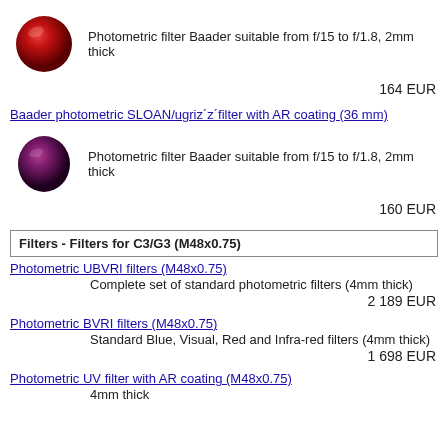[Figure (photo): Red oval photometric filter image]
Photometric filter Baader suitable from f/15 to f/1.8, 2mm thick
164 EUR
Baader photometric SLOAN/ugriz´z´filter with AR coating (36 mm)
[Figure (photo): Purple/magenta oval photometric filter image]
Photometric filter Baader suitable from f/15 to f/1.8, 2mm thick
160 EUR
Filters - Filters for C3/G3 (M48x0.75)
Photometric UBVRI filters (M48x0.75)
Complete set of standard photometric filters (4mm thick)
2 189 EUR
Photometric BVRI filters (M48x0.75)
Standard Blue, Visual, Red and Infra-red filters (4mm thick)
1 698 EUR
Photometric UV filter with AR coating (M48x0.75)
4mm thick